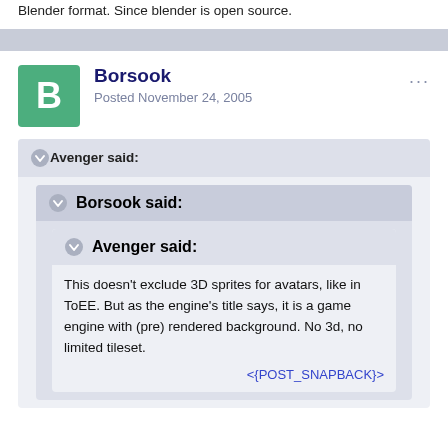Blender format. Since blender is open source.
Borsook
Posted November 24, 2005
Avenger said:
Borsook said:
Avenger said:
This doesn't exclude 3D sprites for avatars, like in ToEE. But as the engine's title says, it is a game engine with (pre) rendered background. No 3d, no limited tileset.
<{POST_SNAPBACK}>